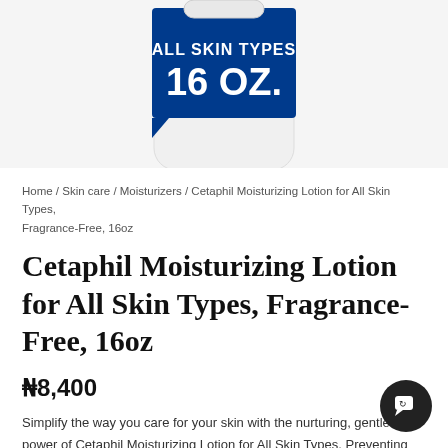[Figure (photo): Cetaphil Moisturizing Lotion bottle with blue label showing ALL SKIN TYPES 16 OZ.]
Home / Skin care / Moisturizers / Cetaphil Moisturizing Lotion for All Skin Types, Fragrance-Free, 16oz
Cetaphil Moisturizing Lotion for All Skin Types, Fragrance-Free, 16oz
₦8,400
Simplify the way you care for your skin with the nurturing, gentle power of Cetaphil Moisturizing Lotion for All Skin Types. Preventing dryness before it starts, this lightweight formula is a worthwhile choice for tho